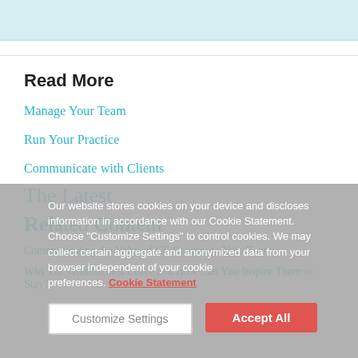[Figure (other): Light blue banner at top of page]
Read More
Manage Your Team
Run Your Practice
Communicate with Clients
The Latest
Related Content
Communicating the Value of CE Courses to Your Team
Why Do Veterinarians Leave and How Can You Inspire Them to Stay?
Our website stores cookies on your device and discloses information in accordance with our Cookie Statement. Choose "Customize Settings" to control cookies. We may collect certain aggregate and anonymized data from your browser independent of your cookie preferences. Cookie Statement
Customize Settings | Accept All